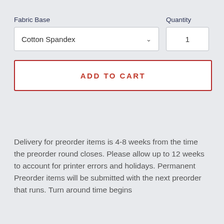Fabric Base
Quantity
Cotton Spandex
1
ADD TO CART
Delivery for preorder items is 4-8 weeks from the time the preorder round closes. Please allow up to 12 weeks to account for printer errors and holidays. Permanent Preorder items will be submitted with the next preorder that runs. Turn around time begins